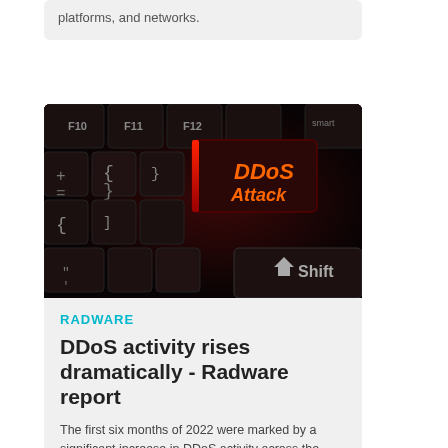platforms, and networks.
[Figure (photo): Close-up photograph of a dark keyboard with a key labeled 'DDoS Attack' lit up in orange/red light, and a 'Shift' key visible in the lower right corner.]
RADWARE
DDoS activity rises dramatically - Radware report
The first six months of 2022 were marked by a significant increase in DDoS activity across the globe, according to a new report.